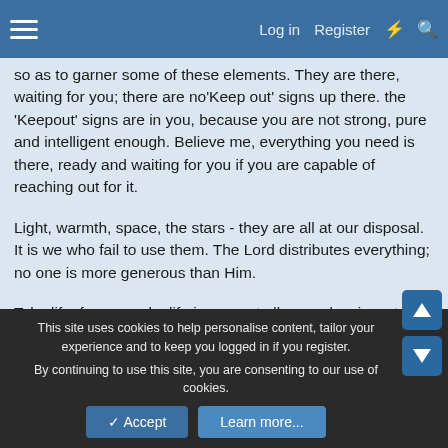Log in  Register
so as to garner some of these elements. They are there, waiting for you; there are no'Keep out' signs up there. the 'Keepout' signs are in you, because you are not strong, pure and intelligent enough. Believe me, everything you need is there, ready and waiting for you if you are capable of reaching out for it.
Light, warmth, space, the stars - they are all at our disposal. It is we who fail to use them. The Lord distributes everything; no one is more generous than Him.
Take life, for example: life is present all around us in water, in rocks and trees and, above all, in the air and the sun, but we die because our bodies are unable to draw on that life. God is just and supremely generous; He has never said that His riches were for some and not for others. If we have never done anything to
This site uses cookies to help personalise content, tailor your experience and to keep you logged in if you register.
By continuing to use this site, you are consenting to our use of cookies.